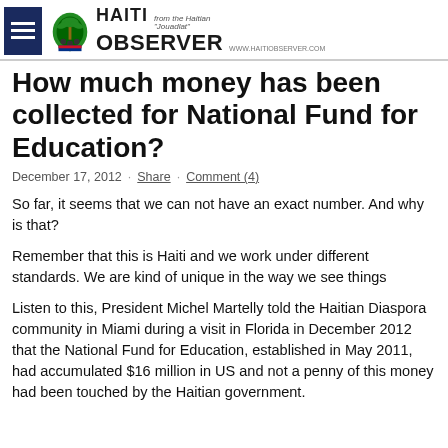Haiti Observer
How much money has been collected for National Fund for Education?
December 17, 2012 · Share · Comment (4)
So far, it seems that we can not have an exact number. And why is that?
Remember that this is Haiti and we work under different standards. We are kind of unique in the way we see things
Listen to this, President Michel Martelly told the Haitian Diaspora community in Miami during a visit in Florida in December 2012 that the National Fund for Education, established in May 2011, had accumulated $16 million in US and not a penny of this money had been touched by the Haitian government.